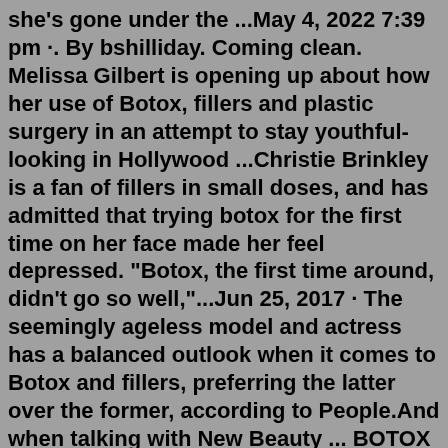she's gone under the ...May 4, 2022 7:39 pm ·. By bshilliday. Coming clean. Melissa Gilbert is opening up about how her use of Botox, fillers and plastic surgery in an attempt to stay youthful- looking in Hollywood ...Christie Brinkley is a fan of fillers in small doses, and has admitted that trying botox for the first time on her face made her feel depressed. "Botox, the first time around, didn't go so well,"...Jun 25, 2017 · The seemingly ageless model and actress has a balanced outlook when it comes to Botox and fillers, preferring the latter over the former, according to People.And when talking with New Beauty ... BOTOX ® prevents headaches and migraine attacks before they even start BOTOX ® prevents, on average, 8 to 9 headache days and migraine/probable migraine days a month (vs 6 to 7 for placebo) Learn more For adults with Chronic Migraine, 15 or more headache days a month, each lasting 4 or more hours.Well, Madhuri Dixit has got her cheekbones lifted and also got Botox for her wrinkles. 3. Aamir Khan. Dixit reportedly believes that the surface-level...